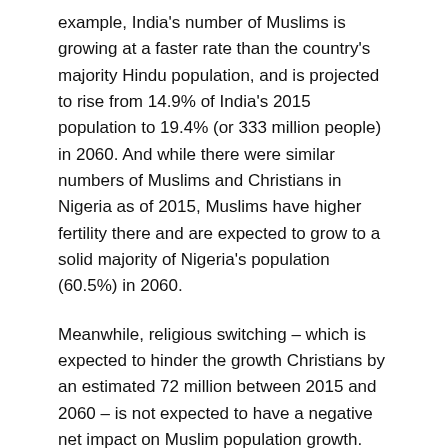example, India's number of Muslims is growing at a faster rate than the country's majority Hindu population, and is projected to rise from 14.9% of India's 2015 population to 19.4% (or 333 million people) in 2060. And while there were similar numbers of Muslims and Christians in Nigeria as of 2015, Muslims have higher fertility there and are expected to grow to a solid majority of Nigeria's population (60.5%) in 2060.
Meanwhile, religious switching – which is expected to hinder the growth Christians by an estimated 72 million between 2015 and 2060 – is not expected to have a negative net impact on Muslim population growth.
Source: Pew Research